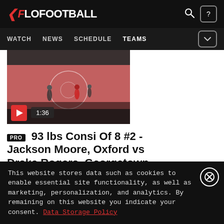FLOFOOTBALL — WATCH | NEWS | SCHEDULE | TEAMS
[Figure (screenshot): Video thumbnail showing a wrestling/sports court with players, red floor, audience in background. Duration badge showing 1:36 with play button.]
PRO 93 lbs Consi Of 8 #2 - Jackson Moore, Oxford vs Drake Rogers, Georgetown
Apr 30, 2022
This website stores data such as cookies to enable essential site functionality, as well as marketing, personalization, and analytics. By remaining on this website you indicate your consent. Data Storage Policy